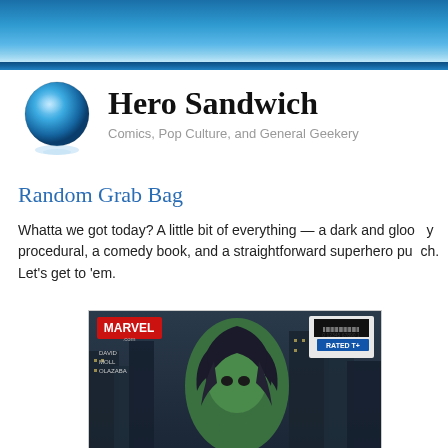[Figure (illustration): Blue gradient header banner with darker blue bar at bottom]
[Figure (logo): Blue globe icon with world map, showing Americas continent, with reflection effect]
Hero Sandwich
Comics, Pop Culture, and General Geekery
Random Grab Bag
Whatta we got today? A little bit of everything — a dark and gloo... procedural, a comedy book, and a straightforward superhero pu... get to 'em.
[Figure (photo): Marvel comic book cover featuring She-Hulk, a green-skinned female character with long dark hair, crouching in front of a dark cityscape at night. Marvel logo and RATED T+ label visible. Credits: David, Moll, Olazaba.]